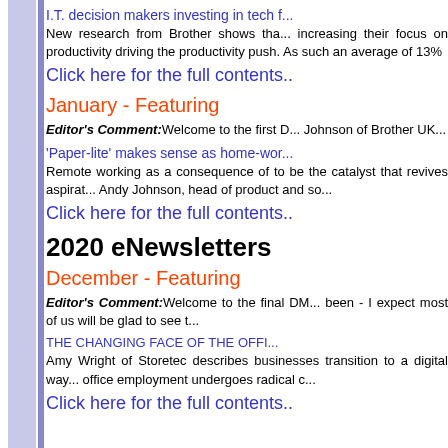I.T. decision makers investing in tech f...
New research from Brother shows that increasing their focus on productivity driving the productivity push. As such an average of 13%
Click here for the full contents..
January - Featuring
Editor's Comment: Welcome to the first D... Johnson of Brother UK...
'Paper-lite' makes sense as home-wor...
Remote working as a consequence of to be the catalyst that revives aspirat... Andy Johnson, head of product and so...
Click here for the full contents..
2020 eNewsletters
December - Featuring
Editor's Comment: Welcome to the final DM... been - I expect most of us will be glad to see t...
THE CHANGING FACE OF THE OFFI...
Amy Wright of Storetec describes businesses transition to a digital way... office employment undergoes radical c...
Click here for the full contents..